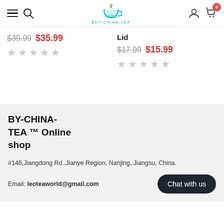BY-CHINA-TEA navigation header with hamburger menu, search, logo, user icon, and cart (0 items)
$39.99  $35.99 [stars]
Lid
$17.99  $15.99 [stars]
BY-CHINA-TEA ™ Online shop
#146,Jiangdong Rd.,Jianye Region, Nanjing, Jiangsu, China.
Email: leoteaworld@gmail.com
Chat with us